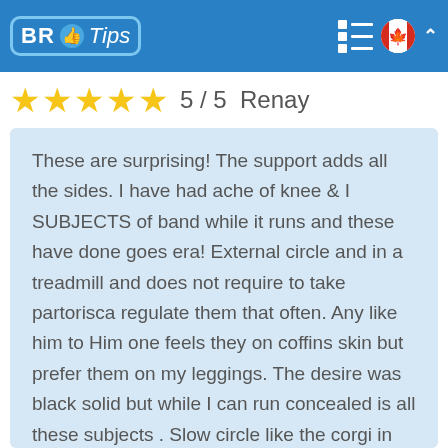BR Tips
5 / 5  Renay
These are surprising! The support adds all the sides. I have had ache of knee & I SUBJECTS of band while it runs and these have done goes era! External circle and in a treadmill and does not require to take partorisca regulate them that often. Any like him to Him one feels they on coffins skin but prefer them on my leggings. The desire was black solid but while I can run concealed is all these subjects . Slow circle like the corgi in the heels but these he possible to move without ache! A quality is sum , there is the small fraying where